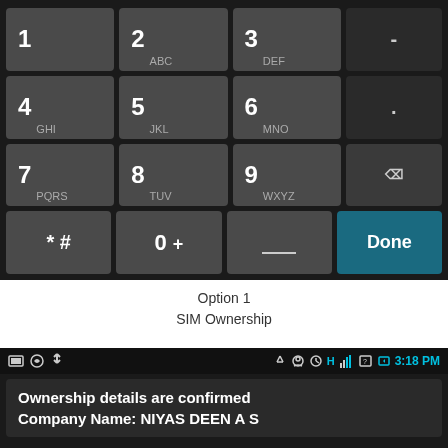[Figure (screenshot): Android phone numeric keypad with keys 1-9, *, 0+, space, Done button, and backspace. Keys arranged in 4 rows of 4.]
Option 1
SIM Ownership
[Figure (screenshot): Android phone status bar showing icons and time 3:18 PM, with notification box showing 'Ownership details are confirmed Company Name: NIYAS DEEN A S']